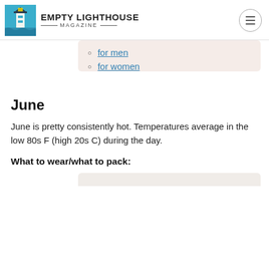EMPTY LIGHTHOUSE MAGAZINE
for men
for women
June
June is pretty consistently hot. Temperatures average in the low 80s F (high 20s C) during the day.
What to wear/what to pack: